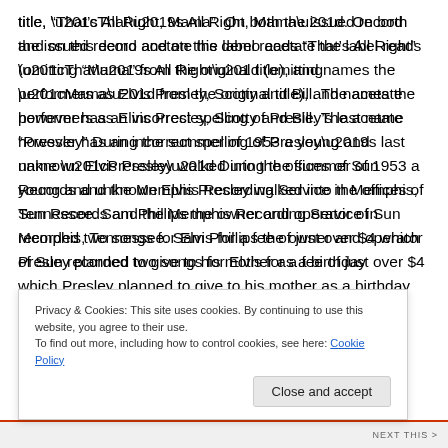title, “That’s All Right, Mama”. On both the issued record and on this demo acetate the label reads “That’s All Right” (omitting “Mama” from the original title), and names the performers as Elvis Presley, Scotty and Bill. The acetate however has an incorrect spelling of Presley’s last name “Pressley” During the summer of 1953 a young and unknown Elvis Presley walked into the offices of Sun Records and the Memphis Recording Service in Memphis, Tennessee. Sam Phillips the owner and operator of Sun recorded two songs for Elvis for a fee of just over $4 which Presley planned to give to his mother as a birthday
Privacy & Cookies: This site uses cookies. By continuing to use this website, you agree to their use.
To find out more, including how to control cookies, see here: Cookie Policy
Close and accept